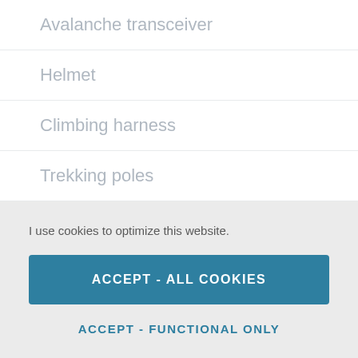Avalanche transceiver
Helmet
Climbing harness
Trekking poles
I use cookies to optimize this website.
ACCEPT - ALL COOKIES
ACCEPT - FUNCTIONAL ONLY